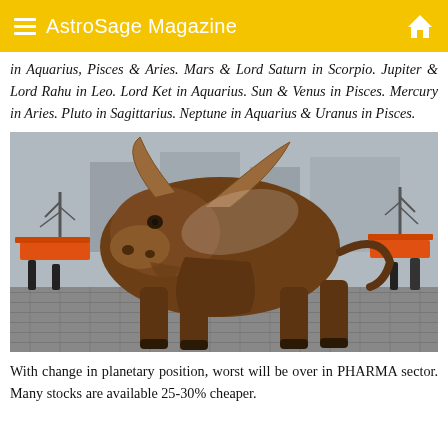AstroSage Magazine
in Aquarius, Pisces & Aries. Mars & Lord Saturn in Scorpio. Jupiter & Lord Rahu in Leo. Lord Ket in Aquarius. Sun & Venus in Pisces. Mercury in Aries. Pluto in Sagittarius. Neptune in Aquarius & Uranus in Pisces.
[Figure (photo): Bronze Charging Bull statue photographed outdoors on cobblestone pavement, with bare trees and construction barriers visible in the background. The bull is posed aggressively with head lowered and horns forward.]
With change in planetary position, worst will be over in PHARMA sector. Many stocks are available 25-30% cheaper.